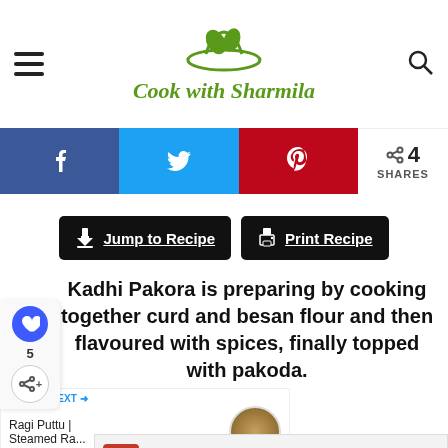Cook with Sharmila
[Figure (infographic): Social share bar with Facebook (blue), Twitter (cyan), Pinterest (red) icons, and share count showing 4 SHARES]
[Figure (other): Two black buttons: Jump to Recipe and Print Recipe]
Kadhi Pakora is preparing by cooking together curd and besan flour and then flavoured with spices, finally topped with pakoda.
[Figure (other): What's Next panel: Ragi Puttu | Steamed Ra... with circular food image]
[Figure (other): Firestone advertisement banner: Download The Free App with red Download button]